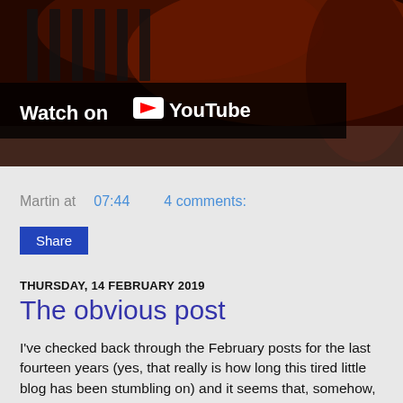[Figure (screenshot): YouTube video thumbnail showing piano keys in dark red/orange light with a 'Watch on YouTube' overlay banner]
Martin at 07:44    4 comments:
Share
THURSDAY, 14 FEBRUARY 2019
The obvious post
I've checked back through the February posts for the last fourteen years (yes, that really is how long this tired little blog has been stumbling on) and it seems that, somehow, I've never posted this obvious song for today.
So now, at 11.59... Valentine's Day Is Over. A great early-Bragg-era song, with wonderful between-the-lines storytelling, laid even more bare than usual in this Peel Session version.